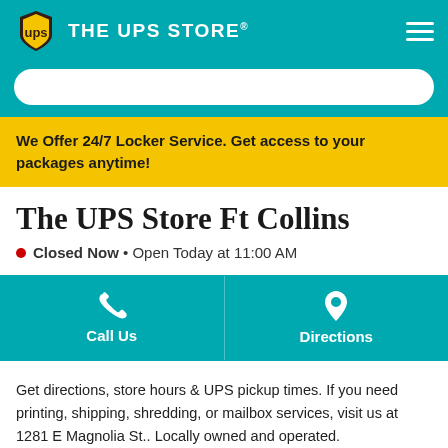THE UPS STORE
We Offer 24/7 Locker Service. Get access to your packages anytime!
The UPS Store Ft Collins
Closed Now • Open Today at 11:00 AM
Call Us
Directions
Get directions, store hours & UPS pickup times. If you need printing, shipping, shredding, or mailbox services, visit us at 1281 E Magnolia St.. Locally owned and operated.